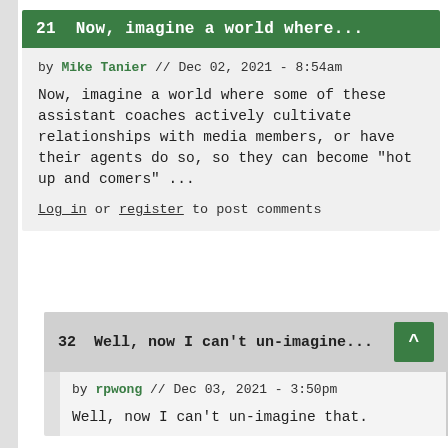21  Now, imagine a world where...
by Mike Tanier // Dec 02, 2021 - 8:54am
Now, imagine a world where some of these assistant coaches actively cultivate relationships with media members, or have their agents do so, so they can become "hot up and comers" ...
Log in or register to post comments
32  Well, now I can't un-imagine...
by rpwong // Dec 03, 2021 - 3:50pm
Well, now I can't un-imagine that.